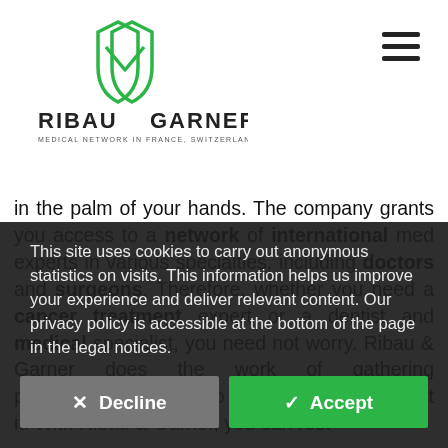[Figure (logo): Ribau Garner logo with two overlapping shield outlines in green and the text RIBAU GARNER and MEDICAL NETWORK IN FRANCE, SWITZERLAND & SPAIN]
in the palm of your hands. The company grants you access to a network of international med experts in various specialties, including doctors and surgeons. Therefore, whether you need a cancer treatment expert or a dentist and medical specialist, you need not worry. Ribau & Garner does the work of gathering professionals, so you do not have to worry about it. With Ribau & Garner, you can rest
This site uses cookies to carry out anonymous statistics on visits. This information helps us improve your experience and deliver relevant content. Our privacy policy is accessible at the bottom of the page in the legal notices.
✕ Decline
✓ Accept